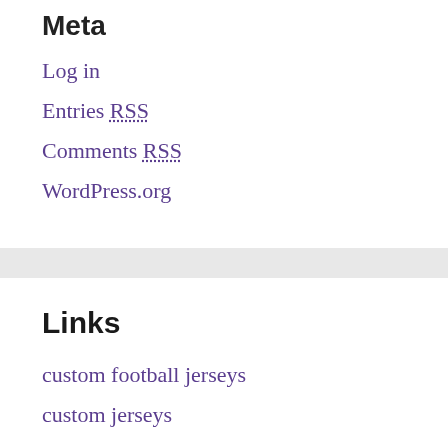Meta
Log in
Entries RSS
Comments RSS
WordPress.org
Links
custom football jerseys
custom jerseys
custom jerseys make
design your own jerseys